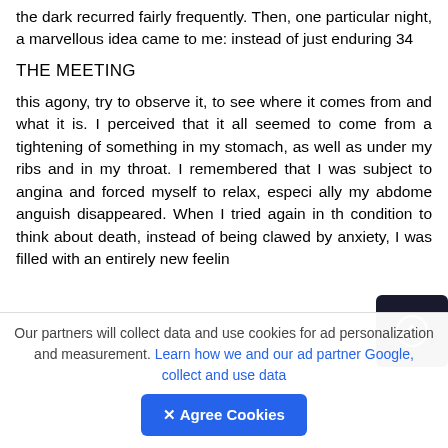the dark recurred fairly frequently. Then, one particular night, a marvellous idea came to me: instead of just enduring 34
THE MEETING
this agony, try to observe it, to see where it comes from and what it is. I perceived that it all seemed to come from a tightening of something in my stomach, as well as under my ribs and in my throat. I remembered that I was subject to angina and forced myself to relax, especi ally my abdome anguish disappeared. When I tried again in th condition to think about death, instead of being clawed by anxiety, I was filled with an entirely new feelin
Our partners will collect data and use cookies for ad personalization and measurement. Learn how we and our ad partner Google, collect and use data
✕ Agree Cookies